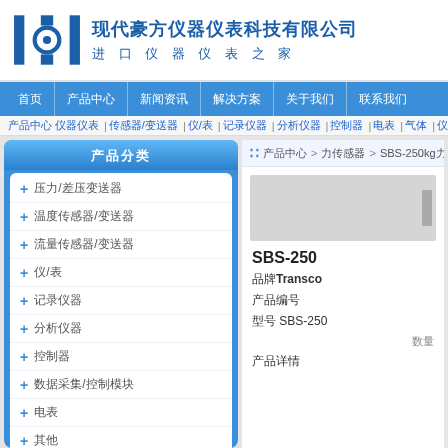现代豪方仪器仪表科技有限公司 进口仪器仪表之家
首页 | 产品中心 | 新闻资讯 | 解决方案 | 关于我们 | 联系我们
产品中心 仪器仪表 | 传感器/变送器 | 仪/表 | 记录仪器 | 分析仪器 | 控制器 | 电表 | 气体 | 仪器仪表
产品分类
压力/差压变送器
温度传感器/变送器
流量传感器/变送器
仪/表
记录仪器
分析仪器
控制器
数据采集/控制模块
电表
其他
产品中心 > 力传感器 > SBS-250kg力传感器
SBS-250
品牌Transco
产品编号
型号 SBS-250
产品详情
数量